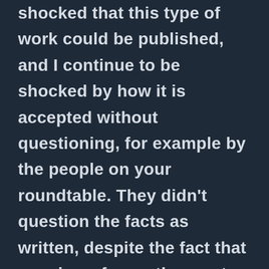shocked that this type of work could be published, and I continue to be shocked by how it is accepted without questioning, for example by the people on your roundtable. They didn't question the facts as written, despite the fact that a review of even the most basic primary documents like the NAS report itself, or the contemporaneous news